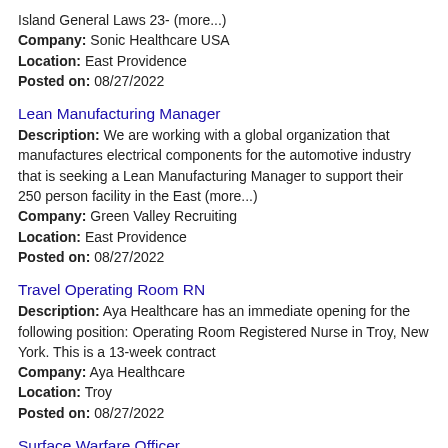Island General Laws 23- (more...)
Company: Sonic Healthcare USA
Location: East Providence
Posted on: 08/27/2022
Lean Manufacturing Manager
Description: We are working with a global organization that manufactures electrical components for the automotive industry that is seeking a Lean Manufacturing Manager to support their 250 person facility in the East (more...)
Company: Green Valley Recruiting
Location: East Providence
Posted on: 08/27/2022
Travel Operating Room RN
Description: Aya Healthcare has an immediate opening for the following position: Operating Room Registered Nurse in Troy, New York. This is a 13-week contract
Company: Aya Healthcare
Location: Troy
Posted on: 08/27/2022
Surface Warfare Officer
Description: About America's Navy has the most modern, advanced